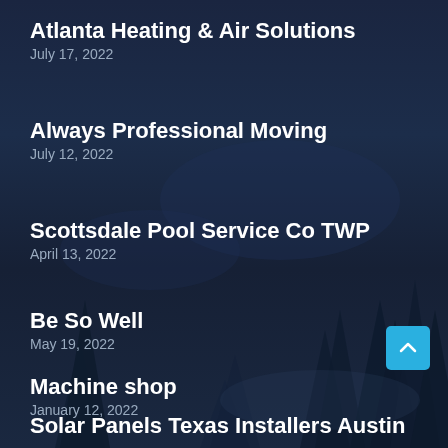Atlanta Heating & Air Solutions
July 17, 2022
Always Professional Moving
July 12, 2022
Scottsdale Pool Service Co TWP
April 13, 2022
Be So Well
May 19, 2022
Machine shop
January 12, 2022
Solar Panels Texas Installers Austin